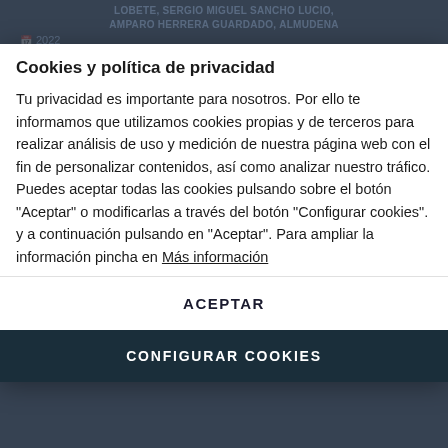LOBETE, SERGIO MIGUEL SANCHO LUCIO, AMPARO HERRERA GUARDADO, ALMUDENA
2022
Nonlinear analysis of a high-power oscillator inductively coupled
Artículo de Revista
IEEE Microwave and Wireless Components Letters. 2021. 31(6). 737-740
FRANCO ARIEL RAMIREZ TERAN
01/06/2021
Cookies y política de privacidad
Tu privacidad es importante para nosotros. Por ello te informamos que utilizamos cookies propias y de terceros para realizar análisis de uso y medición de nuestra página web con el fin de personalizar contenidos, así como analizar nuestro tráfico. Puedes aceptar todas las cookies pulsando sobre el botón "Aceptar" o modificarlas a través del botón "Configurar cookies". y a continuación pulsando en "Aceptar". Para ampliar la información pincha en Más información
ACEPTAR
CONFIGURAR COOKIES